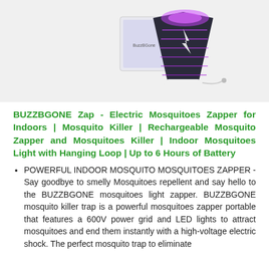[Figure (photo): Product photo of the BUZZBGONE Zap electric mosquito zapper device with purple LED light and its packaging box, shown on a white background.]
BUZZBGONE Zap - Electric Mosquitoes Zapper for Indoors | Mosquito Killer | Rechargeable Mosquito Zapper and Mosquitoes Killer | Indoor Mosquitoes Light with Hanging Loop | Up to 6 Hours of Battery
POWERFUL INDOOR MOSQUITO MOSQUITOES ZAPPER - Say goodbye to smelly Mosquitoes repellent and say hello to the BUZZBGONE mosquitoes light zapper. BUZZBGONE mosquito killer trap is a powerful mosquitoes zapper portable that features a 600V power grid and LED lights to attract mosquitoes and end them instantly with a high-voltage electric shock. The perfect mosquito trap to eliminate...